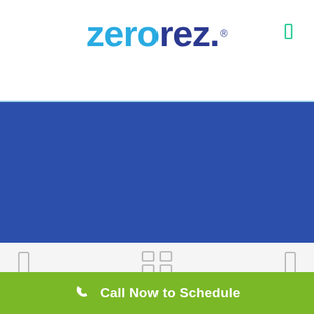[Figure (logo): Zerorez logo with 'zero' in light blue and 'rez.' in dark blue, with registered trademark symbol]
[Figure (illustration): Dark blue hero banner area (image placeholder)]
[Figure (illustration): Navigation row with left arrow icon, four-square grid icon, and right arrow icon in gray]
How to Clean Auto Upholstery
October 13, 2017
Call Now to Schedule